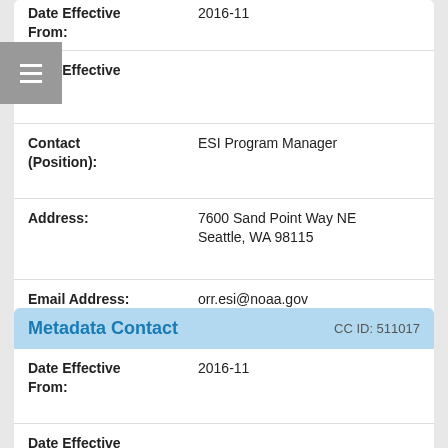| Field | Value |
| --- | --- |
| Date Effective From: | 2016-11 |
| Date Effective To: |  |
| Contact (Position): | ESI Program Manager |
| Address: | 7600 Sand Point Way NE
Seattle, WA 98115 |
| Email Address: | orr.esi@noaa.gov |
Metadata Contact  CC ID: 511017
| Field | Value |
| --- | --- |
| Date Effective From: | 2016-11 |
| Date Effective To: |  |